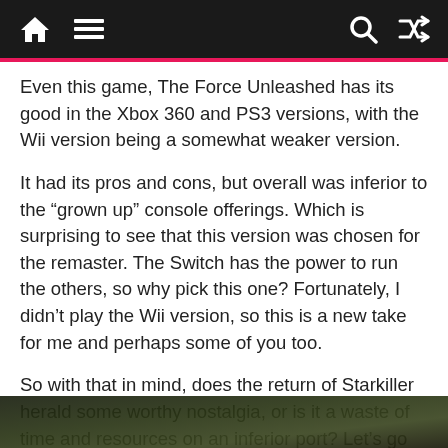Navigation bar with home, menu, search, and shuffle icons
Even this game, The Force Unleashed has its good in the Xbox 360 and PS3 versions, with the Wii version being a somewhat weaker version.
It had its pros and cons, but overall was inferior to the “grown up” console offerings. Which is surprising to see that this version was chosen for the remaster. The Switch has the power to run the others, so why pick this one? Fortunately, I didn’t play the Wii version, so this is a new take for me and perhaps some of you too.
So with that in mind, does the return of Starkiller herald some worthy nostalgia, or is it a waste of time and resources on an inferior port? Let’s go behind the Emperor’s back and find out.
[Figure (photo): Bottom portion of a dark outdoor/nature photo, partially visible at the bottom of the page]